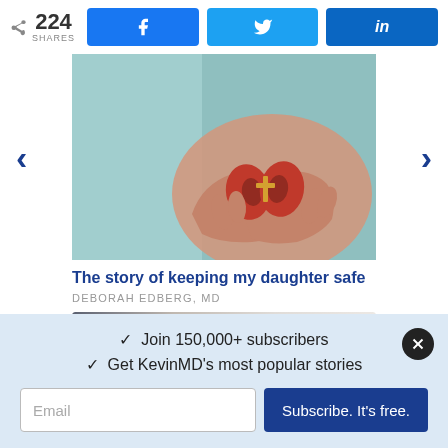< 224 SHARES
[Figure (photo): Cupped hands holding a red kidney-shaped model with a cross symbol, on a teal background]
The story of keeping my daughter safe
DEBORAH EDBERG, MD
Join 150,000+ subscribers
Get KevinMD's most popular stories
Email
Subscribe. It's free.